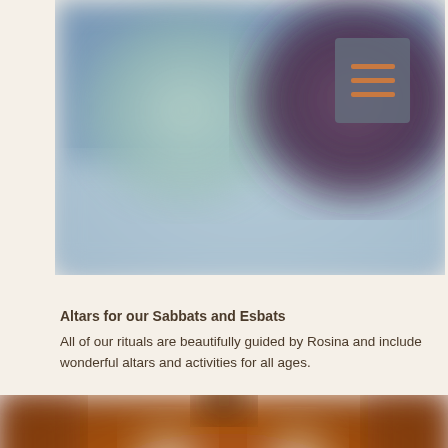[Figure (photo): Blurred abstract image with blue-gray background and a large dark purple/maroon circular shape, a soft teal/mint circle on the left. A navigation menu button with horizontal orange lines on a gray background overlay is in the top right corner.]
Altars for our Sabbats and Esbats
All of our rituals are beautifully guided by Rosina and include wonderful altars and activities for all ages.
[Figure (photo): Blurred close-up photograph of a wooden altar or candle holders in warm orange-brown tones with tall white candles.]